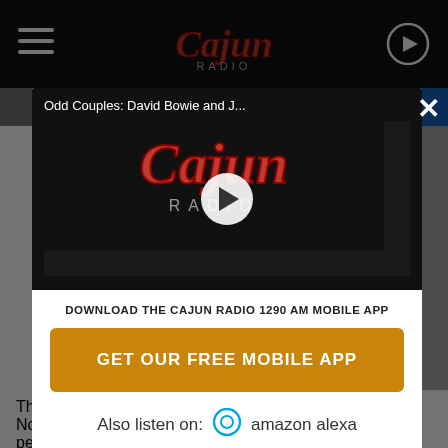Cajun Radio
[Figure (screenshot): Video player modal overlay on Cajun Radio website showing a video titled 'Odd Couples: David Bowie and J...' with Cajun Radio logo and play button]
Odd Couples: David Bowie and J...
DOWNLOAD THE CAJUN RADIO 1290 AM MOBILE APP
GET OUR FREE MOBILE APP
Also listen on:  amazon alexa
The event happens twice a year, and it will be back this November on November 13 and 14. Tickets are only $5 per